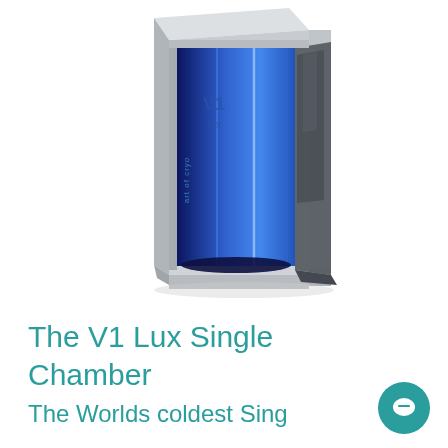[Figure (photo): A cryotherapy chamber product photo: a tall rectangular silver/grey metallic cabinet with an open door, revealing a blue-lit interior. The inside shows vertical panels lit in deep blue. The branding 'art of cryo' appears on both the top exterior and on the interior wall, along with 'V1 lux' logo on the interior. The chamber door is open, swung to the right.]
The V1 Lux Single Chamber
The Worlds coldest Single Chamber